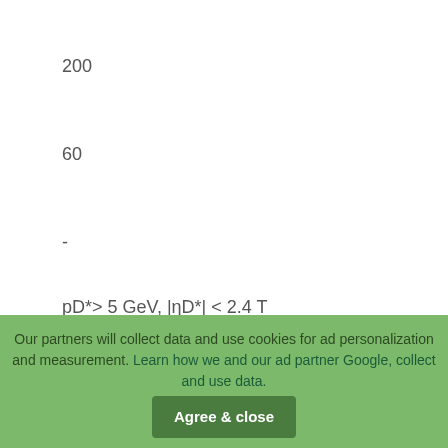200
60
-
400
W+ + c
500
0 0
pD*> 5 GeV, |ηD*| < 2.4 T
Our partners will collect data and use cookies for ad personalization and measurement. Learn how we and our ad partner Google, collect and use data.